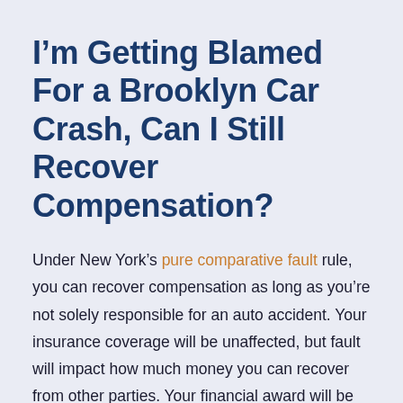I'm Getting Blamed For a Brooklyn Car Crash, Can I Still Recover Compensation?
Under New York's pure comparative fault rule, you can recover compensation as long as you're not solely responsible for an auto accident. Your insurance coverage will be unaffected, but fault will impact how much money you can recover from other parties. Your financial award will be limited by your share of the blame. If you're assigned 35